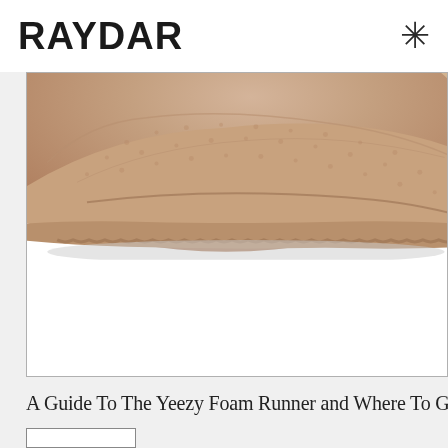RAYDAR
[Figure (photo): Close-up photo of a beige/tan Yeezy Foam Runner shoe, showing the textured foam upper and serrated sole edge, cropped at the top of the frame against a white background]
A Guide To The Yeezy Foam Runner and Where To Get